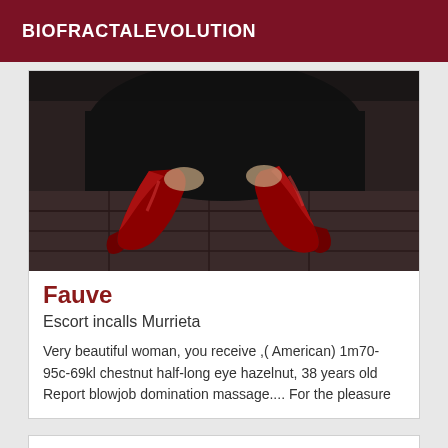BIOFRACTALEVOLUTION
[Figure (photo): Photo of red high-heel shoes (soles visible) against a dark stone floor background, person wearing black clothing]
Fauve
Escort incalls Murrieta
Very beautiful woman, you receive ,( American) 1m70-95c-69kl chestnut half-long eye hazelnut, 38 years old Report blowjob domination massage.... For the pleasure